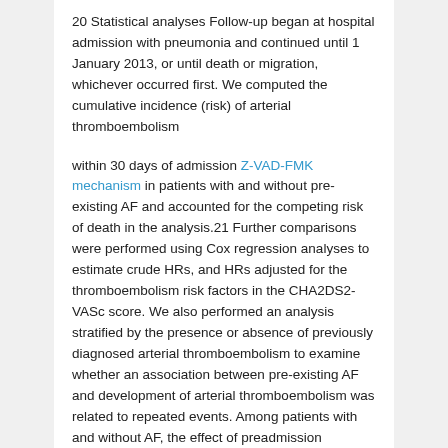20 Statistical analyses Follow-up began at hospital admission with pneumonia and continued until 1 January 2013, or until death or migration, whichever occurred first. We computed the cumulative incidence (risk) of arterial thromboembolism
within 30 days of admission Z-VAD-FMK mechanism in patients with and without pre-existing AF and accounted for the competing risk of death in the analysis.21 Further comparisons were performed using Cox regression analyses to estimate crude HRs, and HRs adjusted for the thromboembolism risk factors in the CHA2DS2-VASc score. We also performed an analysis stratified by the presence or absence of previously diagnosed arterial thromboembolism to examine whether an association between pre-existing AF and development of arterial thromboembolism was related to repeated events. Among patients with and without AF, the effect of preadmission treatment with vitamin K antagonists or aspirin on risk of arterial thromboembolism was evaluated by comparing users to non-users. We repeated the analyses for patients